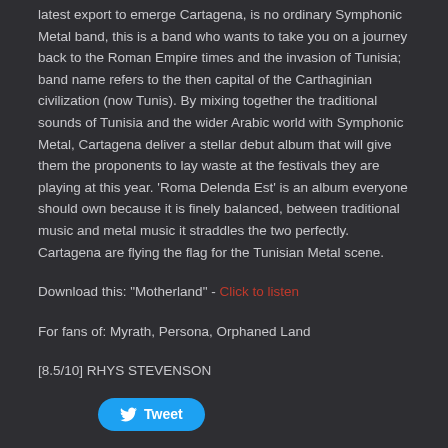latest export to emerge Cartagena, is no ordinary Symphonic Metal band, this is a band who wants to take you on a journey back to the Roman Empire times and the invasion of Tunisia; band name refers to the then capital of the Carthaginian civilization (now Tunis). By mixing together the traditional sounds of Tunisia and the wider Arabic world with Symphonic Metal, Cartagena deliver a stellar debut album that will give them the proponents to lay waste at the festivals they are playing at this year. 'Roma Delenda Est' is an album everyone should own because it is finely balanced, between traditional music and metal music it straddles the two perfectly. Cartagena are flying the flag for the Tunisian Metal scene.
Download this: "Motherland" - Click to listen
For fans of: Myrath, Persona, Orphaned Land
[8.5/10] RHYS STEVENSON
[Figure (other): Tweet button]
0 Comments